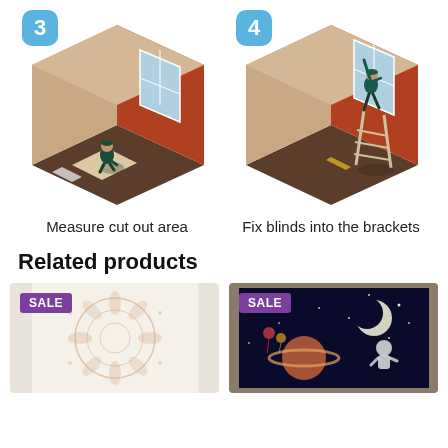[Figure (illustration): Step 3: Isometric room illustration with person kneeling on floor measuring/cutting blinds material, with window on red wall]
Measure cut out area
[Figure (illustration): Step 4: Isometric room illustration with person on ladder fixing blinds into brackets at window on red wall]
Fix blinds into the brackets
Related products
[Figure (photo): Product image showing floral/mandala curtain or tapestry, with SALE badge]
[Figure (photo): Product image showing space/astronaut themed wall mural or curtain on dark blue background, with SALE badge]